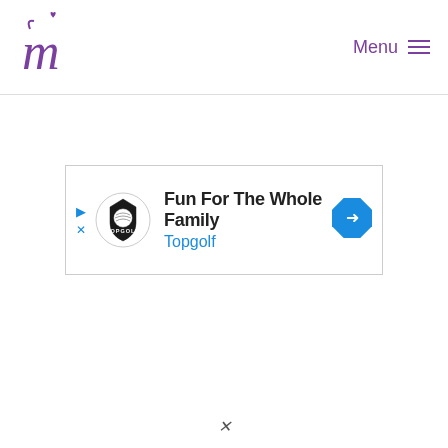Menu
[Figure (infographic): Advertisement banner for Topgolf: 'Fun For The Whole Family' with Topgolf logo and navigation arrow icon]